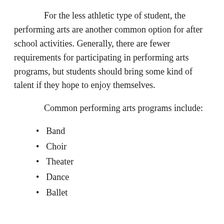For the less athletic type of student, the performing arts are another common option for after school activities. Generally, there are fewer requirements for participating in performing arts programs, but students should bring some kind of talent if they hope to enjoy themselves.
Common performing arts programs include:
Band
Choir
Theater
Dance
Ballet